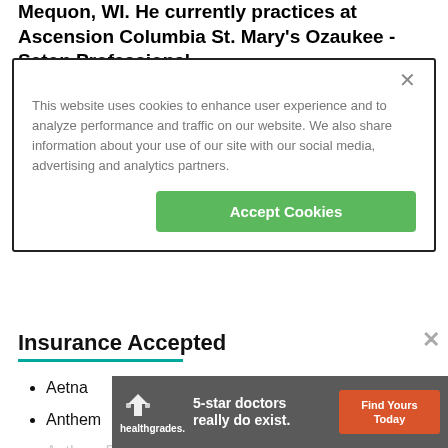Mequon, WI. He currently practices at Ascension Columbia St. Mary's Ozaukee - Seton Professional
This website uses cookies to enhance user experience and to analyze performance and traffic on our website. We also share information about your use of our site with our social media, advertising and analytics partners.
Accept Cookies
Insurance Accepted
Aetna
Anthem
Anthem Blue Cross Blue Shield
[Figure (screenshot): Healthgrades advertisement banner: '5-star doctors really do exist. Find Yours Today']